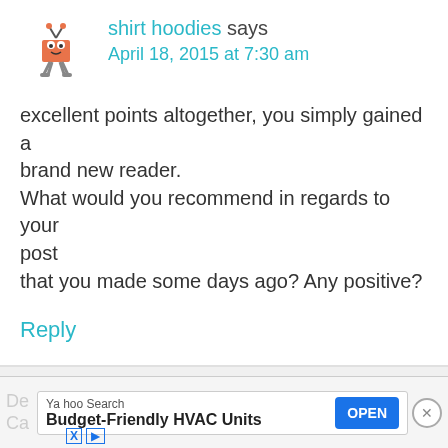[Figure (illustration): Orange robot/alien mascot avatar with heart-shaped body]
shirt hoodies says
April 18, 2015 at 7:30 am
excellent points altogether, you simply gained a brand new reader.
What would you recommend in regards to your post
that you made some days ago? Any positive?
Reply
[Figure (illustration): Green heart-shaped robot/alien mascot avatar]
SAP Calculations in the UK says
April 20, 2015 at 5:27 am
[Figure (screenshot): Yahoo Search advertisement banner: Budget-Friendly HVAC Units, OPEN button]